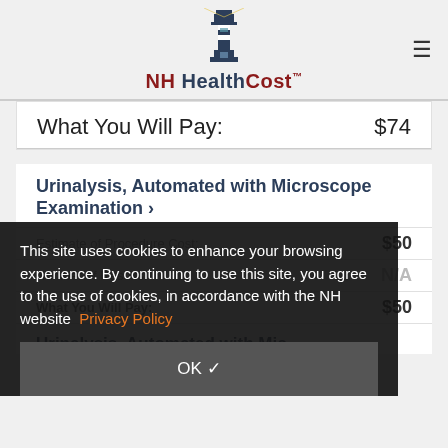NH HealthCost
What You Will Pay: $74
Urinalysis, Automated with Microscope Examination >
Estimate of Procedure Cost: $50
Number of Results: N/A
What You Will Pay: $50
This site uses cookies to enhance your browsing experience. By continuing to use this site, you agree to the use of cookies, in accordance with the NH website Privacy Policy
OK ✓
Urinalysis, Automated with Mic